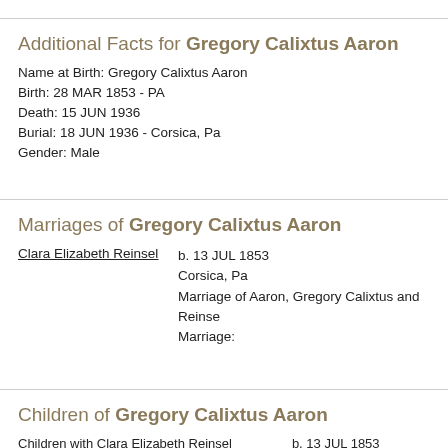Additional Facts for Gregory Calixtus Aaron
Name at Birth: Gregory Calixtus Aaron
Birth: 28 MAR 1853 - PA
Death: 15 JUN 1936
Burial: 18 JUN 1936 - Corsica, Pa
Gender: Male
Marriages of Gregory Calixtus Aaron
Clara Elizabeth Reinsel
b. 13 JUL 1853
Corsica, Pa
Marriage of Aaron, Gregory Calixtus and Reinse
Marriage:
Children of Gregory Calixtus Aaron
Children with Clara Elizabeth Reinsel	b. 13 JUL 1853